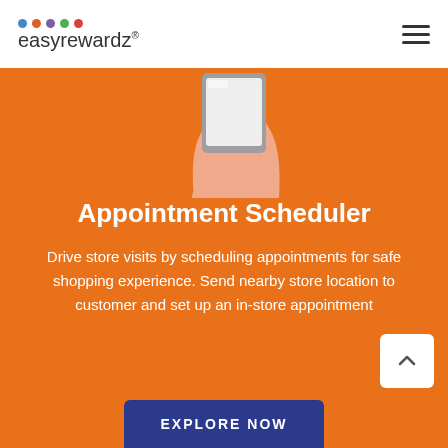easyrewardz
[Figure (illustration): Hand holding a tablet/device, partial illustration on orange background]
Appointment Scheduler
Drive store visits by scheduling appointments for safe shopping experience. Send nearby store location to customer and set up an in-store appointment
[Figure (other): White rounded square button with upward chevron arrow for scrolling up]
[Figure (other): EXPLORE NOW button in dark navy blue]